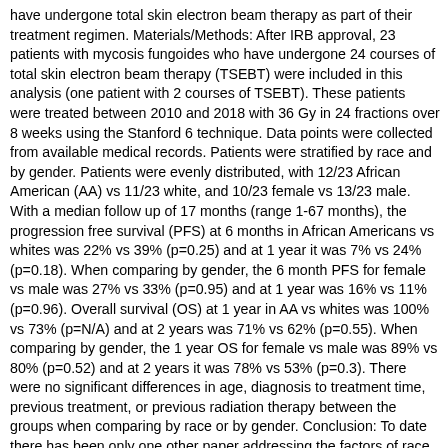have undergone total skin electron beam therapy as part of their treatment regimen. Materials/Methods: After IRB approval, 23 patients with mycosis fungoides who have undergone 24 courses of total skin electron beam therapy (TSEBT) were included in this analysis (one patient with 2 courses of TSEBT). These patients were treated between 2010 and 2018 with 36 Gy in 24 fractions over 8 weeks using the Stanford 6 technique. Data points were collected from available medical records. Patients were stratified by race and by gender. Patients were evenly distributed, with 12/23 African American (AA) vs 11/23 white, and 10/23 female vs 13/23 male. With a median follow up of 17 months (range 1-67 months), the progression free survival (PFS) at 6 months in African Americans vs whites was 22% vs 39% (p=0.25) and at 1 year it was 7% vs 24% (p=0.18). When comparing by gender, the 6 month PFS for female vs male was 27% vs 33% (p=0.95) and at 1 year was 16% vs 11% (p=0.96). Overall survival (OS) at 1 year in AA vs whites was 100% vs 73% (p=N/A) and at 2 years was 71% vs 62% (p=0.55). When comparing by gender, the 1 year OS for female vs male was 89% vs 80% (p=0.52) and at 2 years it was 78% vs 53% (p=0.3). There were no significant differences in age, diagnosis to treatment time, previous treatment, or previous radiation therapy between the groups when comparing by race or by gender. Conclusion: To date there has been only one other paper addressing the factors of race and gender on the outcomes of TSEBT, and that paper had a relatively low percentage of AA patients (22%). In our study where representation of AA patients is 52%, we confirmed that there is no significant difference in survival outcomes based on the patient's race. This was similarly observed in the comparison by gender as well. A major limitation of this study is the small sample size, as well as the retrospective nature of the analysis.